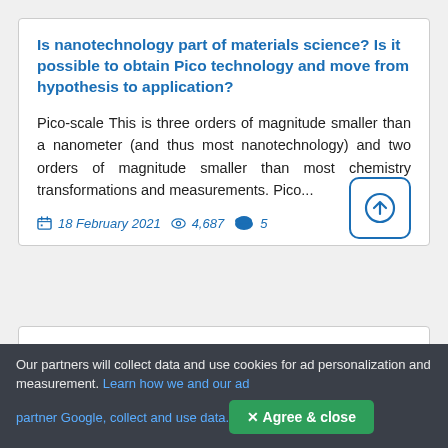Is nanotechnology part of materials science? Is it possible to obtain Pico technology and move from hypothesis to application?
Pico-scale This is three orders of magnitude smaller than a nanometer (and thus most nanotechnology) and two orders of magnitude smaller than most chemistry transformations and measurements. Pico...
18 February 2021  4,687  5
Our partners will collect data and use cookies for ad personalization and measurement. Learn how we and our ad partner Google, collect and use data.